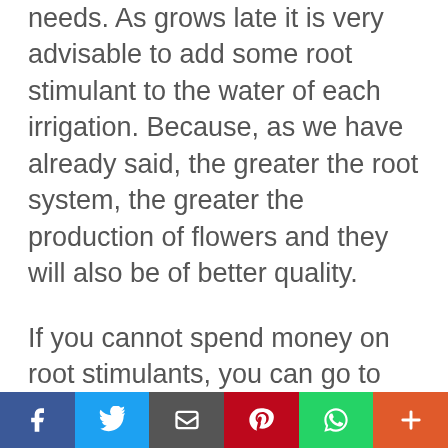needs. As grows late it is very advisable to add some root stimulant to the water of each irrigation. Because, as we have already said, the greater the root system, the greater the production of flowers and they will also be of better quality.
If you cannot spend money on root stimulants, you can go to the pharmacy and buy ampoules of vitamin B. These ampoules are called Benerva and can be found in any pharmacy for very little money. Add 3 ampoules of Benerva per
f  t  [icon]  p  [icon]  +